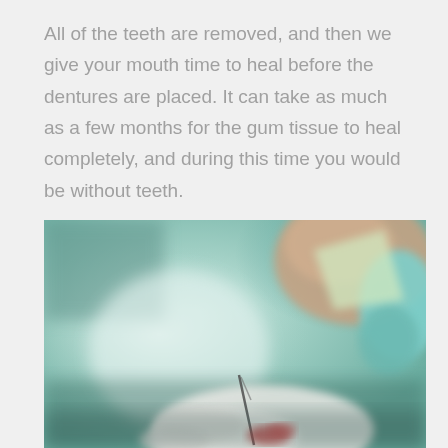All of the teeth are removed, and then we give your mouth time to heal before the dentures are placed. It can take as much as a few months for the gum tissue to heal completely, and during this time you would be without teeth.
[Figure (photo): Close-up photo of a dental professional in gloves and mask holding a dental instrument, with a blurred teal/green background.]